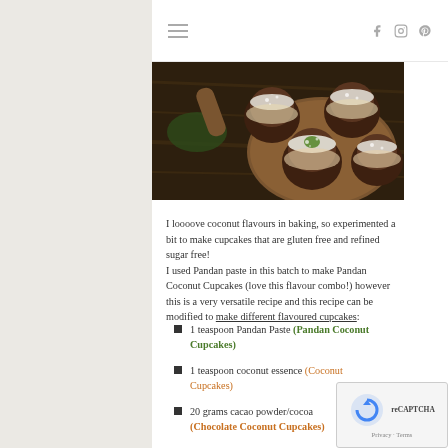≡   f  📷  🅟
[Figure (photo): Photo of chocolate coconut cupcakes dusted with powdered sugar on a wooden cutting board, viewed from above]
I loooove coconut flavours in baking, so experimented a bit to make cupcakes that are gluten free and refined sugar free!
I used Pandan paste in this batch to make Pandan Coconut Cupcakes (love this flavour combo!) however this is a very versatile recipe and this recipe can be modified to make different flavoured cupcakes:
1 teaspoon Pandan Paste (Pandan Coconut Cupcakes)
1 teaspoon coconut essence (Coconut Cupcakes)
20 grams cacao powder/cocoa (Chocolate Coconut Cupcakes)